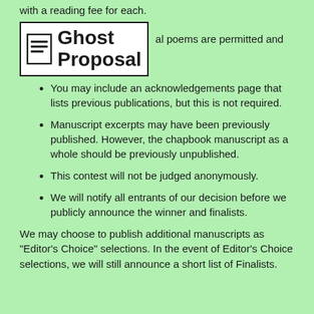with a reading fee for each.
[Figure (logo): Ghost Proposal logo: a white box with border containing a document icon and the text 'Ghost Proposal' in bold.]
al poems are permitted and
You may include an acknowledgements page that lists previous publications, but this is not required.
Manuscript excerpts may have been previously published. However, the chapbook manuscript as a whole should be previously unpublished.
This contest will not be judged anonymously.
We will notify all entrants of our decision before we publicly announce the winner and finalists.
We may choose to publish additional manuscripts as "Editor's Choice" selections. In the event of Editor's Choice selections, we will still announce a short list of Finalists.